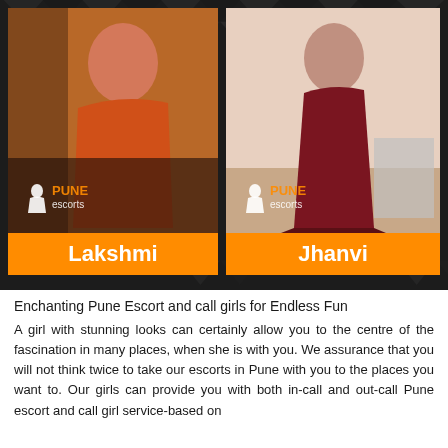[Figure (photo): Photo of woman named Lakshmi in orange/red top with Pune Escorts watermark]
[Figure (photo): Photo of woman named Jhanvi in maroon dress with Pune Escorts watermark]
Enchanting Pune Escort and call girls for Endless Fun
A girl with stunning looks can certainly allow you to the centre of the fascination in many places, when she is with you. We assurance that you will not think twice to take our escorts in Pune with you to the places you want to. Our girls can provide you with both in-call and out-call Pune escort and call girl service-based on